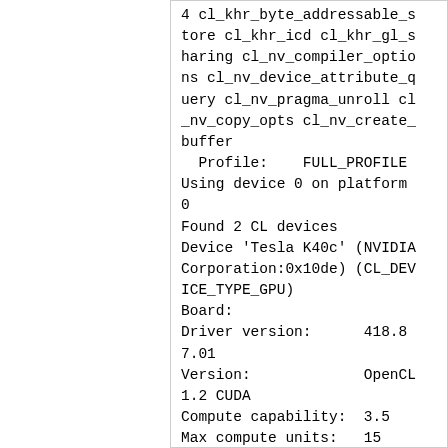4 cl_khr_byte_addressable_store cl_khr_icd cl_khr_gl_sharing cl_nv_compiler_options cl_nv_device_attribute_query cl_nv_pragma_unroll cl_nv_copy_opts cl_nv_create_buffer
  Profile:    FULL_PROFILE
Using device 0 on platform 0
Found 2 CL devices
Device 'Tesla K40c' (NVIDIA Corporation:0x10de) (CL_DEVICE_TYPE_GPU)
Board:
Driver version:      418.87.01
Version:             OpenCL 1.2 CUDA
Compute capability:  3.5
Max compute units:   15
Clock frequency:     745 Mhz
Global mem size:     119969